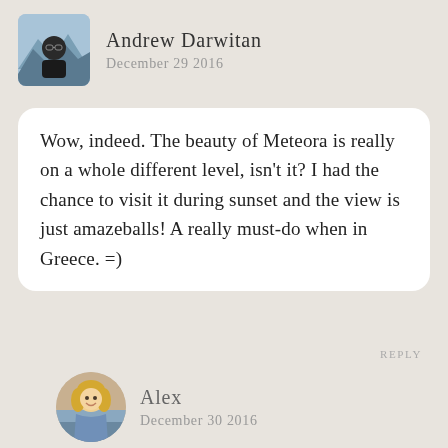Andrew Darwitan
December 29 2016
Wow, indeed. The beauty of Meteora is really on a whole different level, isn't it? I had the chance to visit it during sunset and the view is just amazeballs! A really must-do when in Greece. =)
REPLY
[Figure (photo): Profile photo of Andrew Darwitan, a young Asian man in a dark shirt, with a mountain landscape background]
[Figure (photo): Profile photo of Alex, a blonde woman smiling]
Alex
December 30 2016
I only wish I'd spent longer 🙂 On my next trip to Greece, I will!